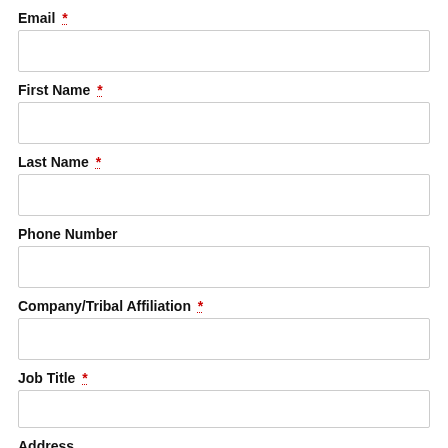Email *
First Name *
Last Name *
Phone Number
Company/Tribal Affiliation *
Job Title *
Address